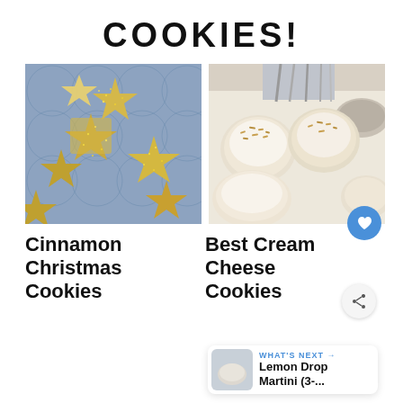COOKIES!
[Figure (photo): Star-shaped cinnamon Christmas cookies with golden sugar sprinkles on a blue patterned plate, viewed from above]
[Figure (photo): Best cream cheese cookies with white glaze and toasted coconut/almond toppings on parchment paper, with a whisk and bowl visible]
Cinnamon Christmas Cookies
Best Cream Cheese Cookies
WHAT'S NEXT → Lemon Drop Martini (3-...